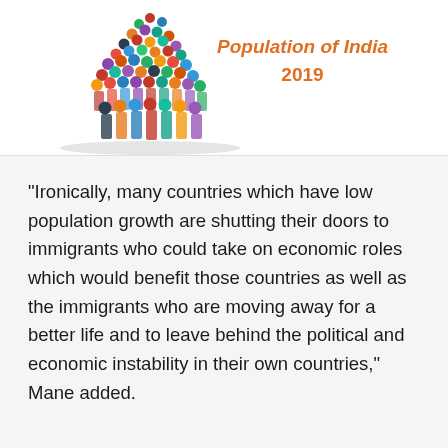[Figure (illustration): A crowd of diverse people forming a dense mass shape on the left side, with italic orange bold text 'Population of India' and '2019' on the right, set against a white background.]
“Ironically, many countries which have low population growth are shutting their doors to immigrants who could take on economic roles which would benefit those countries as well as the immigrants who are moving away for a better life and to leave behind the political and economic instability in their own countries,” Mane added.